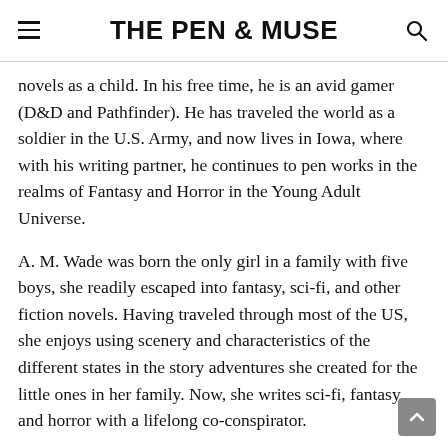THE PEN & MUSE
novels as a child. In his free time, he is an avid gamer (D&D and Pathfinder). He has traveled the world as a soldier in the U.S. Army, and now lives in Iowa, where with his writing partner, he continues to pen works in the realms of Fantasy and Horror in the Young Adult Universe.
A. M. Wade was born the only girl in a family with five boys, she readily escaped into fantasy, sci-fi, and other fiction novels. Having traveled through most of the US, she enjoys using scenery and characteristics of the different states in the story adventures she created for the little ones in her family. Now, she writes sci-fi, fantasy and horror with a lifelong co-conspirator.
Together: Having lost many friends, associates, and even children from our home town over the years to suicide, they wrote their first novel, Upon Broken Wings. Told from the point-of-view of a